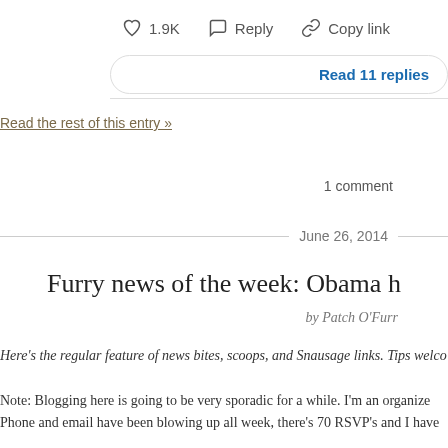♡ 1.9K  ⌂ Reply  ⊙ Copy link
Read 11 replies
Read the rest of this entry »
1 comment
June 26, 2014
Furry news of the week: Obama h
by Patch O'Furr
Here's the regular feature of news bites, scoops, and Snausage links. Tips welco
Note: Blogging here is going to be very sporadic for a while. I'm an organize Phone and email have been blowing up all week, there's 70 RSVP's and I have